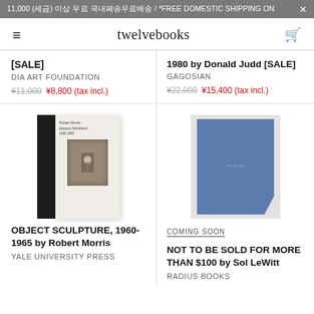11,000 (세금) 이상 무료 국내배송무료배송 / *FREE DOMESTIC SHIPPING ON ×
twelvebooks
[SALE]
DIA ART FOUNDATION
¥11,000 ¥8,800 (tax incl.)
1980 by Donald Judd [SALE]
GAGOSIAN
¥22,000 ¥15,400 (tax incl.)
[Figure (photo): Book cover: OBJECT SCULPTURE, 1960-1965 by Robert Morris, Yale University Press. Dark spine on left, metallic sculpture on cover.]
[Figure (photo): Book cover: NOT TO BE SOLD FOR MORE THAN $100 by Sol LeWitt, Radius Books. Blue torn-paper style cover.]
COMING SOON
OBJECT SCULPTURE, 1960-1965 by Robert Morris
YALE UNIVERSITY PRESS
NOT TO BE SOLD FOR MORE THAN $100 by Sol LeWitt
RADIUS BOOKS